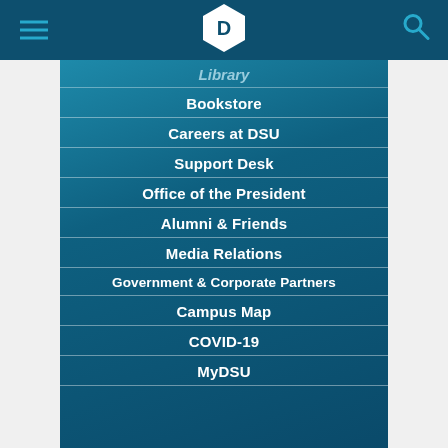[Figure (screenshot): DSU website navigation header with hamburger menu, DSU hexagon logo, and search icon on dark teal background]
Library
Bookstore
Careers at DSU
Support Desk
Office of the President
Alumni & Friends
Media Relations
Government & Corporate Partners
Campus Map
COVID-19
MyDSU